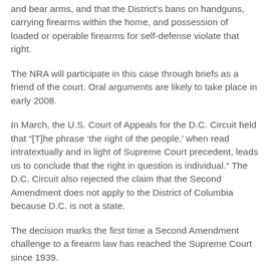and bear arms, and that the District's bans on handguns, carrying firearms within the home, and possession of loaded or operable firearms for self-defense violate that right.
The NRA will participate in this case through briefs as a friend of the court. Oral arguments are likely to take place in early 2008.
In March, the U.S. Court of Appeals for the D.C. Circuit held that “[T]he phrase ‘the right of the people,’ when read intratextually and in light of Supreme Court precedent, leads us to conclude that the right in question is individual.” The D.C. Circuit also rejected the claim that the Second Amendment does not apply to the District of Columbia because D.C. is not a state.
The decision marks the first time a Second Amendment challenge to a firearm law has reached the Supreme Court since 1939.
- nra -